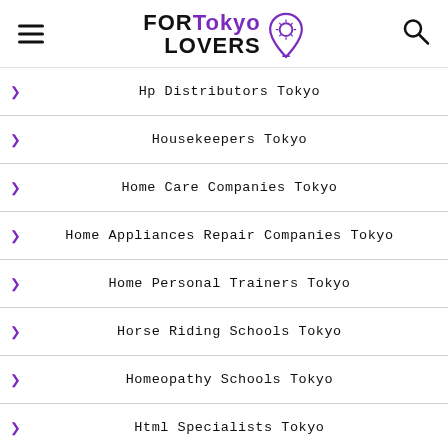[Figure (logo): FORTokyo LOVERS logo with map pin icon]
Hp Distributors Tokyo
Housekeepers Tokyo
Home Care Companies Tokyo
Home Appliances Repair Companies Tokyo
Home Personal Trainers Tokyo
Horse Riding Schools Tokyo
Homeopathy Schools Tokyo
Html Specialists Tokyo
Hairdresser Franchises Tokyo